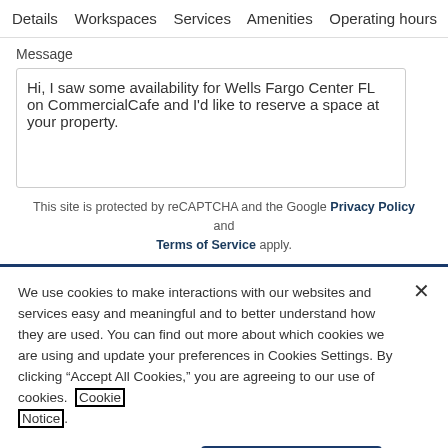Details   Workspaces   Services   Amenities   Operating hours   Locatio
Message
Hi, I saw some availability for Wells Fargo Center FL on CommercialCafe and I'd like to reserve a space at your property.
This site is protected by reCAPTCHA and the Google Privacy Policy and Terms of Service apply.
We use cookies to make interactions with our websites and services easy and meaningful and to better understand how they are used. You can find out more about which cookies we are using and update your preferences in Cookies Settings. By clicking “Accept All Cookies,” you are agreeing to our use of cookies. Cookie Notice.
Cookies Settings
Accept All Cookies